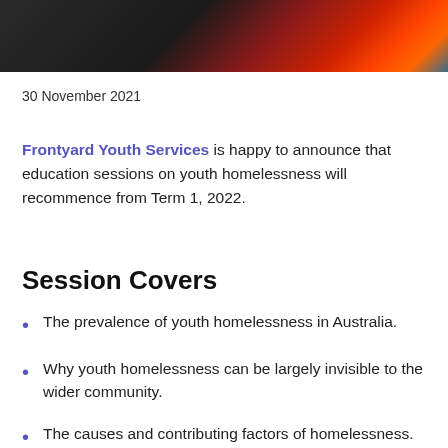[Figure (photo): Banner photo showing dark background on left transitioning to red/orange flame-like imagery and blue tones on right]
30 November 2021
Frontyard Youth Services is happy to announce that education sessions on youth homelessness will recommence from Term 1, 2022.
Session Covers
The prevalence of youth homelessness in Australia.
Why youth homelessness can be largely invisible to the wider community.
The causes and contributing factors of homelessness.